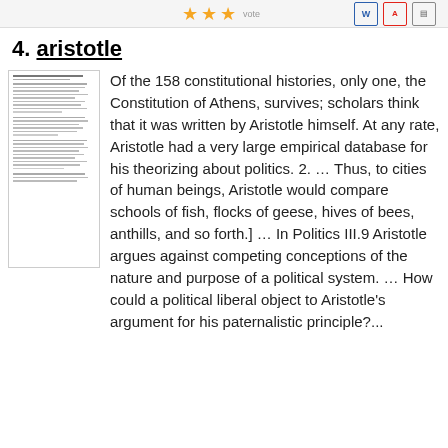★★★ [rating icons] W PDF [doc icon]
4. aristotle
[Figure (illustration): Thumbnail preview of a multi-paragraph text document about aristotle]
Of the 158 constitutional histories, only one, the Constitution of Athens, survives; scholars think that it was written by Aristotle himself. At any rate, Aristotle had a very large empirical database for his theorizing about politics. 2. … Thus, to cities of human beings, Aristotle would compare schools of fish, flocks of geese, hives of bees, anthills, and so forth.] … In Politics III.9 Aristotle argues against competing conceptions of the nature and purpose of a political system. … How could a political liberal object to Aristotle's argument for his paternalistic principle?...